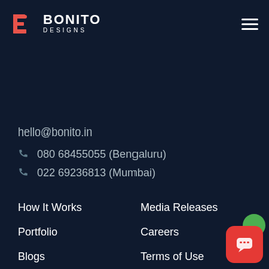BONITO DESIGNS
hello@bonito.in
080 68455055 (Bengaluru)
022 69236813 (Mumbai)
How It Works
Media Releases
Portfolio
Careers
Blogs
Terms of Use
Guide
Privacy-policy
Our Story
[Figure (illustration): Chat widget with red rounded square button and green circle icon in bottom-right corner]